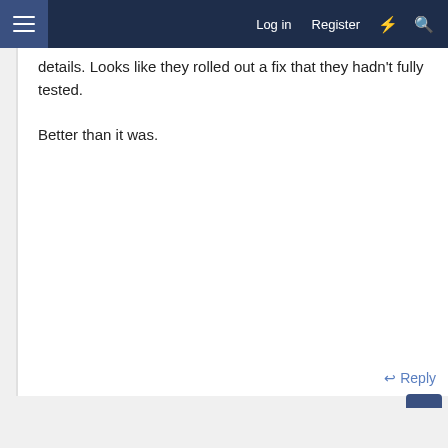Log in  Register
details. Looks like they rolled out a fix that they hadn't fully tested.

Better than it was.
Reply